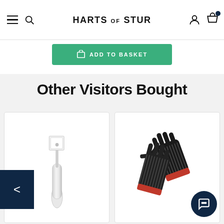HARTS OF STUR
[Figure (screenshot): Green 'Add to Basket' button with shopping basket icon]
Other Visitors Bought
[Figure (photo): Silver kitchen/cooking tool with handle - appears to be a garlic press or similar utensil]
[Figure (photo): Pair of black BBQ/oven gloves with red trim and grey grip lines]